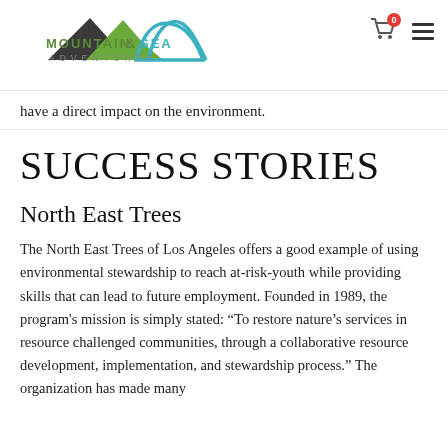[Figure (logo): Mountain & Sea Adventures logo with stylized mountain/wave graphic in green and teal, company name below]
have a direct impact on the environment.
SUCCESS STORIES
North East Trees
The North East Trees of Los Angeles offers a good example of using environmental stewardship to reach at-risk-youth while providing skills that can lead to future employment. Founded in 1989, the program's mission is simply stated: “To restore nature’s services in resource challenged communities, through a collaborative resource development, implementation, and stewardship process.” The organization has made many